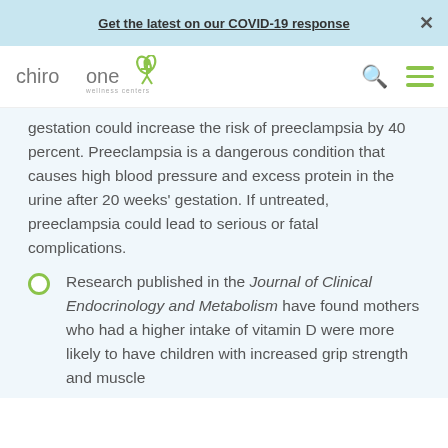Get the latest on our COVID-19 response ×
[Figure (logo): ChiroOne Wellness Centers logo]
gestation could increase the risk of preeclampsia by 40 percent. Preeclampsia is a dangerous condition that causes high blood pressure and excess protein in the urine after 20 weeks' gestation. If untreated, preeclampsia could lead to serious or fatal complications.
Research published in the Journal of Clinical Endocrinology and Metabolism have found mothers who had a higher intake of vitamin D were more likely to have children with increased grip strength and muscle